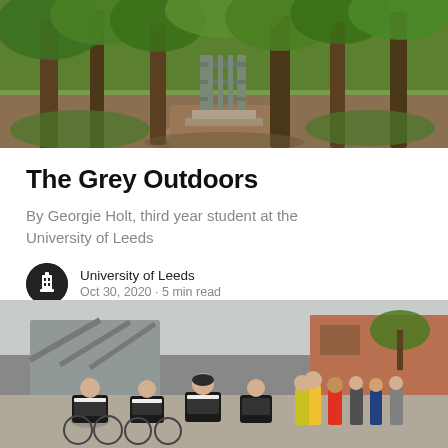[Figure (photo): A wooded area with an old iron gate between trees, lush green foliage, stone steps visible, overgrown and wild-looking.]
The Grey Outdoors
By Georgie Holt, third year student at the University of Leeds
University of Leeds
Oct 30, 2020 · 5 min read
[Figure (photo): A group of cyclists in black and white cycling gear riding through an urban area, with spectators watching from the side. A modern building is visible in the background.]